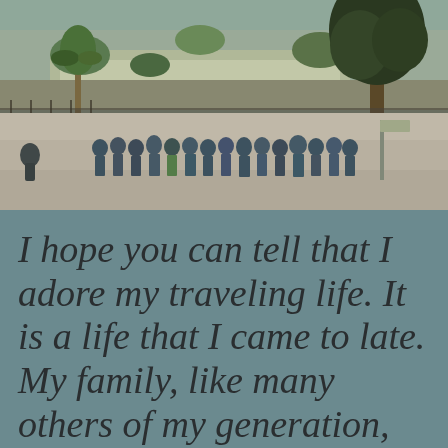[Figure (photo): Outdoor photograph showing a large group of tourists or visitors standing together on a plaza or esplanade, with terraced hillside, stone walls, palm trees, and a large tree in the foreground on the right side.]
I hope you can tell that I adore my traveling life. It is a life that I came to late. My family, like many others of my generation, was one that stayed close to